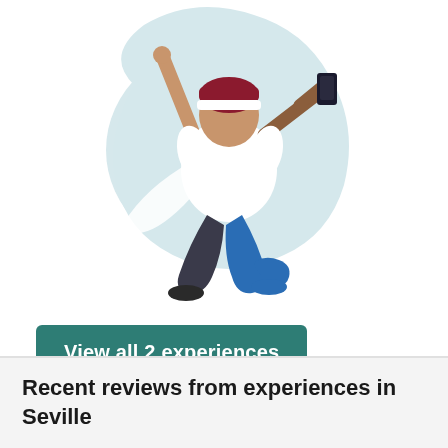[Figure (illustration): A person floating/jumping mid-air taking a selfie with a smartphone, wearing a white t-shirt, blue pants, dark shoes, and a red/maroon beanie hat. The background is a light blue blob shape. The person's arm is raised up with the phone.]
View all 2 experiences
Recent reviews from experiences in Seville